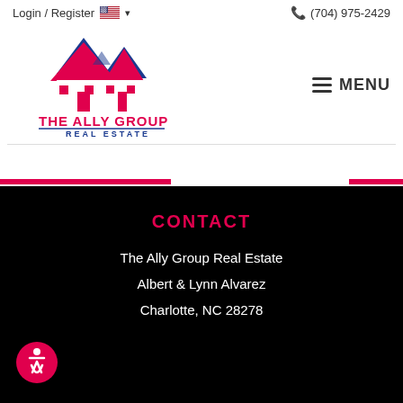Login / Register   (704) 975-2429
[Figure (logo): The Ally Group Real Estate logo with pink and blue house rooftops and text 'THE ALLY GROUP REAL ESTATE']
MENU
CONTACT
The Ally Group Real Estate
Albert & Lynn Alvarez
Charlotte, NC 28278